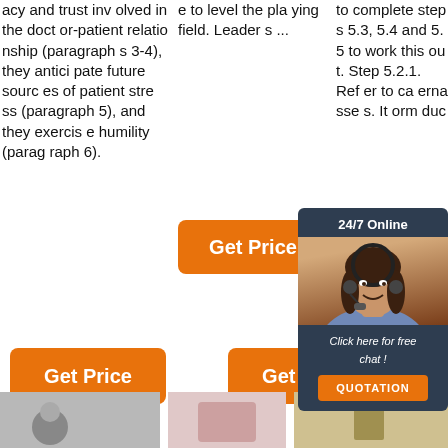acy and trust involved in the doctor-patient relationship (paragraphs 3-4), they anticipate future sources of patient stress (paragraph 5), and they exercise humility (paragraph 6).
[Figure (other): Orange 'Get Price' button in column 2]
e to level the playing field. Leaders ...
to complete steps 5.3, 5.4 and 5.5 to work this out. Step 5.2.1. Refer to co ca erna sse s. It orm duc
[Figure (photo): 24/7 Online chat popup with woman wearing headset, 'Click here for free chat!' and QUOTATION button]
[Figure (other): Orange 'Get Price' button bottom left]
[Figure (other): Orange 'Get Price' button bottom right]
[Figure (other): TOP badge with red dots]
[Figure (photo): Bottom left image placeholder (grayscale)]
[Figure (photo): Bottom center image placeholder (pink/light)]
[Figure (photo): Bottom right image placeholder (tan/gold)]